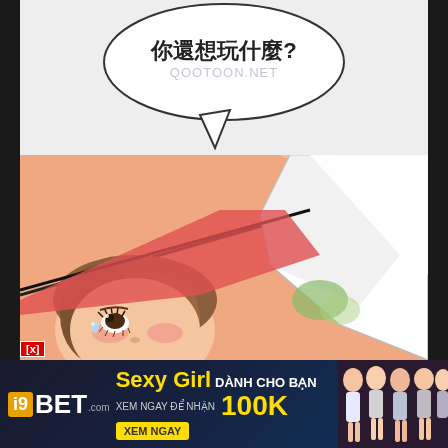[Figure (illustration): Manga/webtoon comic page with two panels. Top panel shows a speech bubble with Chinese text '你還想玩什麼?' and a watermark 'QOOTOON.NET'. Bottom panel shows a close-up manga illustration of a female character with brown hair looking upward with a blushing expression, with a large white curved shape (possibly an arm or fabric) in the upper right area.]
你還想玩什麼?
QOOTOON.NET
[Figure (illustration): Advertisement banner for i9BET.com featuring 'Sexy Girl DÀNH CHO BẠN XEM NGAY ĐỂ NHẬN 100K XEM NGAY' with photos of women in bikinis on the right side.]
Sexy Girl DÀNH CHO BẠN XEM NGAY ĐỂ NHẬN 100K XEM NGAY